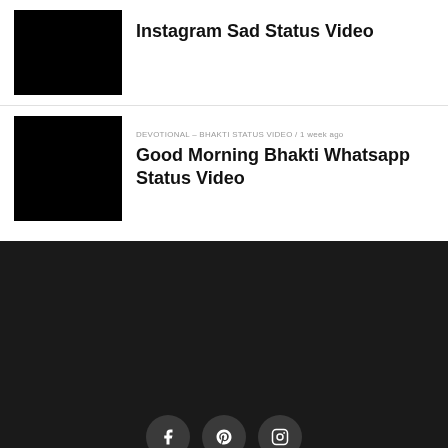[Figure (photo): Black thumbnail image for Instagram Sad Status Video]
Instagram Sad Status Video
[Figure (photo): Black thumbnail image for Good Morning Bhakti Whatsapp Status Video]
DEVOTIONAL – BHAKTI STATUS VIDEO / 1 week ago
Good Morning Bhakti Whatsapp Status Video
[Figure (other): Dark footer section with Facebook, Pinterest, and Instagram social media icons]